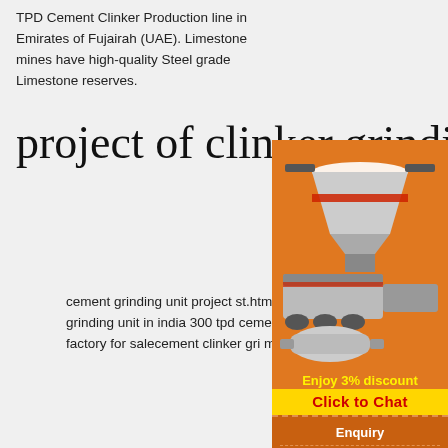TPD Cement Clinker Production line in Emirates of Fujairah (UAE). Limestone mines have high-quality Steel grade Limestone reserves.
project of clinker grinding
cement grinding unit project st.html. Proje For Tpd Cement Grinding Unit Project cost of clinker grinding unit in india 300 tpd cement fa sale in south india la mining re 300500tpd sm plantcement factory for salecement clinker gri more like mini cement plant clinker grinding u cement gr ...
[Figure (illustration): Orange advertisement sidebar showing industrial grinding/crusher machinery images, with 'Enjoy 3% discount' text in yellow and 'Click to Chat' button, plus Enquiry section and limingjlmofen@sina.com email]
st to manufacture 200 tpd cement in nepal